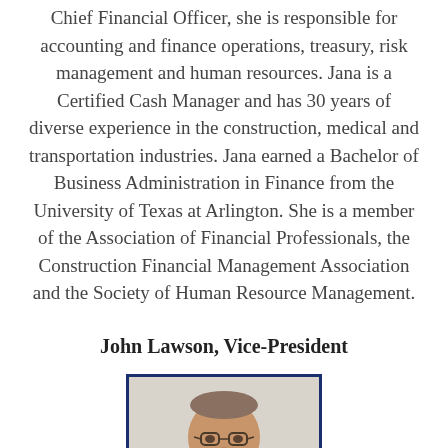Chief Financial Officer, she is responsible for accounting and finance operations, treasury, risk management and human resources. Jana is a Certified Cash Manager and has 30 years of diverse experience in the construction, medical and transportation industries. Jana earned a Bachelor of Business Administration in Finance from the University of Texas at Arlington. She is a member of the Association of Financial Professionals, the Construction Financial Management Association and the Society of Human Resource Management.
John Lawson, Vice-President
[Figure (photo): Headshot photo of John Lawson, a middle-aged man with glasses, wearing dark clothing, seated in an office setting. Photo has a dark blue border.]